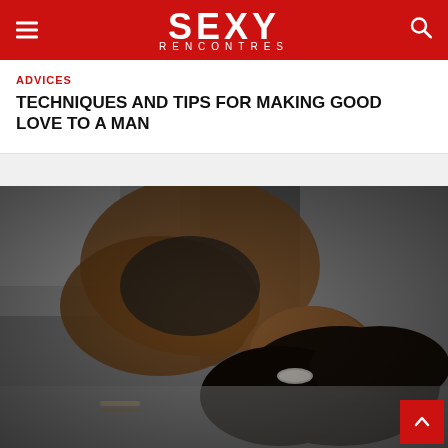SEXY RENCONTRES
ADVICES
TECHNIQUES AND TIPS FOR MAKING GOOD LOVE TO A MAN
[Figure (photo): Woman in black lingerie lying on a bed, smiling at the camera, dark hair spread out, photographed in dark moody tones]